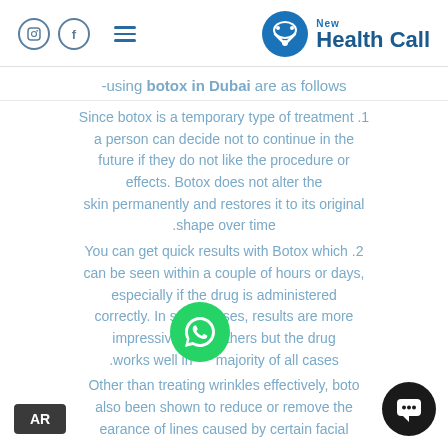New Health Call
-using botox in Dubai are as follows
1. Since botox is a temporary type of treatment a person can decide not to continue in the future if they do not like the procedure or effects. Botox does not alter the skin permanently and restores it to its original shape over time.
2. You can get quick results with Botox which can be seen within a couple of hours or days, especially if the drug is administered correctly. In some cases, results are more impressive than others but the drug works well in majority of all cases.
Other than treating wrinkles effectively, botox also been shown to reduce or remove the appearance of lines caused by certain facial